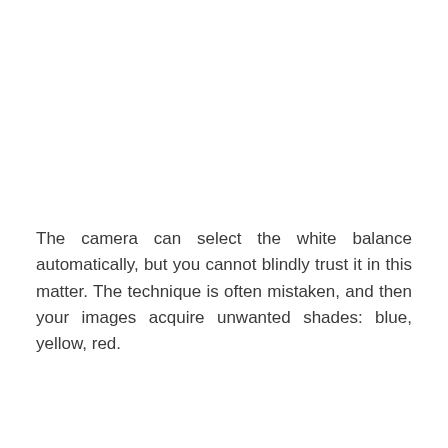The camera can select the white balance automatically, but you cannot blindly trust it in this matter. The technique is often mistaken, and then your images acquire unwanted shades: blue, yellow, red.